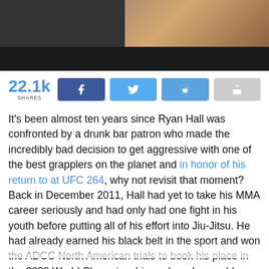[Figure (photo): Dark photo bar at top of article page, partially showing a person against dark background]
22.1k SHARES [Facebook share button] [Twitter share button] [Reddit share button] [Share button]
It's been almost ten years since Ryan Hall was confronted by a drunk bar patron who made the incredibly bad decision to get aggressive with one of the best grapplers on the planet and in honor of his return to at UFC 264, why not revisit that moment? Back in December 2011, Hall had yet to take his MMA career seriously and had only had one fight in his youth before putting all of his effort into Jiu-Jitsu. He had already earned his black belt in the sport and won the ADCC North American trials to book his place in the 2009 World Championships, where he would eventually come